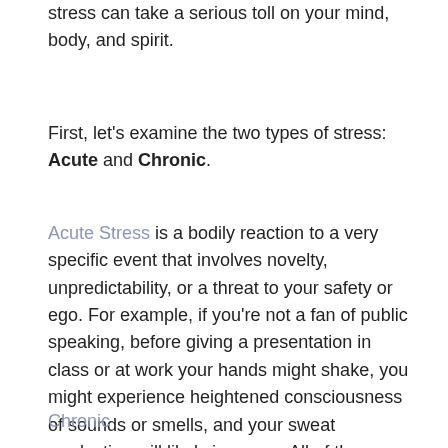However, the buildup of physical effects associated with stress can take a serious toll on your mind, body, and spirit.
First, let's examine the two types of stress: Acute and Chronic.
Acute Stress is a bodily reaction to a very specific event that involves novelty, unpredictability, or a threat to your safety or ego. For example, if you're not a fan of public speaking, before giving a presentation in class or at work your hands might shake, you might experience heightened consciousness of sounds or smells, and your sweat production will likely increase. All of these reactions signify acute stress.
Chronic Stress is ...